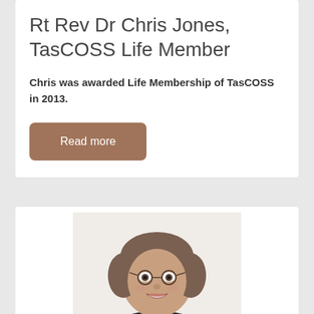Rt Rev Dr Chris Jones, TasCOSS Life Member
Chris was awarded Life Membership of TasCOSS in 2013.
[Figure (other): Brown rounded-rectangle button with white text 'Read more']
[Figure (photo): Headshot portrait of a smiling woman with short brown hair and round glasses, wearing a dark top, photographed against a white background.]